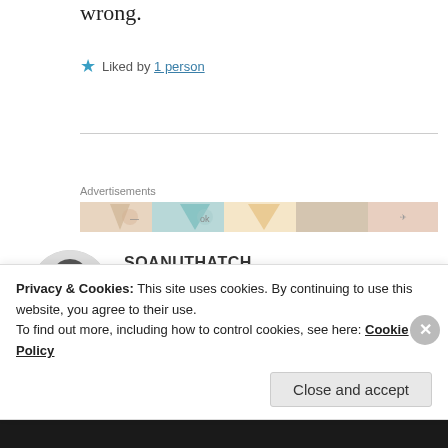wrong.
★ Liked by 1 person
Advertisements
[Figure (illustration): Advertisement banner strip with colorful patterned tiles]
SOANUTHATCH
19 Mar 2019 at 7:52 pm
[Figure (photo): Circular avatar photo of a white bird (nuthatch)]
Privacy & Cookies: This site uses cookies. By continuing to use this website, you agree to their use.
To find out more, including how to control cookies, see here: Cookie Policy
Close and accept